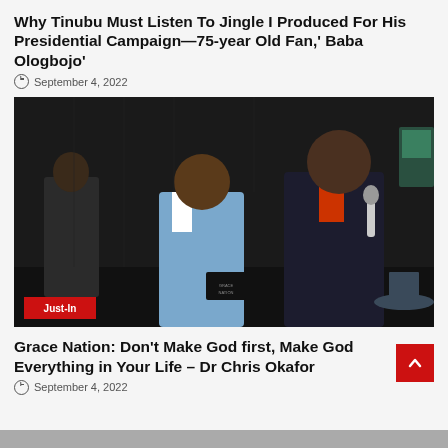Why Tinubu Must Listen To Jingle I Produced For His Presidential Campaign—75-year Old Fan,' Baba Ologbojo'
September 4, 2022
[Figure (photo): Two men on a stage; one in a light blue suit, one in a dark suit holding a microphone with a red tie. A 'Just-In' badge appears in the lower left corner of the image.]
Grace Nation: Don't Make God first, Make God Everything in Your Life – Dr Chris Okafor
September 4, 2022